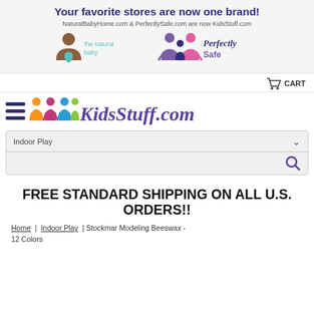Your favorite stores are now one brand!
NaturalBabyHome.com & PerfectlySafe.com are now KidsStuff.com
[Figure (logo): The Natural Baby logo with brown figure holding a teal heart, and Perfectly Safe logo with purple and pink figures]
[Figure (logo): Shopping cart icon with CART label]
[Figure (logo): KidsStuff.com logo with colorful figures and hamburger menu icon]
Indoor Play
[Figure (other): Search magnifying glass icon]
FREE STANDARD SHIPPING ON ALL U.S. ORDERS!!
Home | Indoor Play | Stockmar Modeling Beeswax - 12 Colors